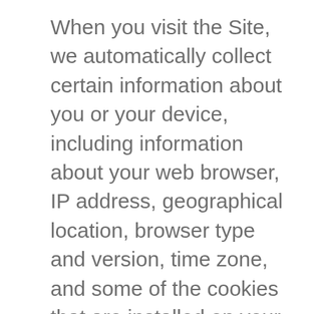When you visit the Site, we automatically collect certain information about you or your device, including information about your web browser, IP address, geographical location, browser type and version, time zone, and some of the cookies that are installed on your device. Additionally, as you browse the Site, we collect information about the individual web pages, what websites or search terms referred you to the Site, and